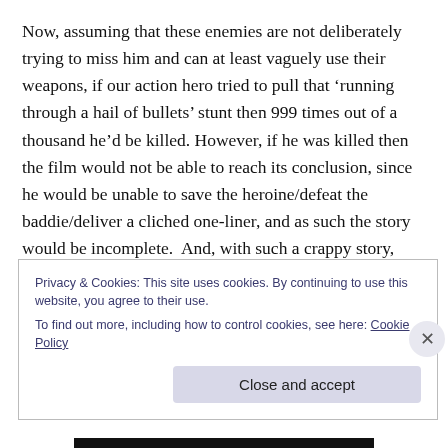Now, assuming that these enemies are not deliberately trying to miss him and can at least vaguely use their weapons, if our action hero tried to pull that ‘running through a hail of bullets’ stunt then 999 times out of a thousand he’d be killed. However, if he was killed then the film would not be able to reach its conclusion, since he would be unable to save the heroine/defeat the baddie/deliver a cliched one-liner, and as such the story would be incomplete.  And, with such a crappy story, there’s no way that a film would get made about it;
Privacy & Cookies: This site uses cookies. By continuing to use this website, you agree to their use.
To find out more, including how to control cookies, see here: Cookie Policy
Close and accept